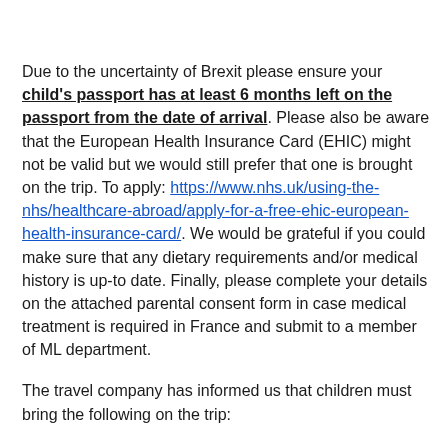Due to the uncertainty of Brexit please ensure your child's passport has at least 6 months left on the passport from the date of arrival. Please also be aware that the European Health Insurance Card (EHIC) might not be valid but we would still prefer that one is brought on the trip. To apply: https://www.nhs.uk/using-the-nhs/healthcare-abroad/apply-for-a-free-ehic-european-health-insurance-card/. We would be grateful if you could make sure that any dietary requirements and/or medical history is up-to date. Finally, please complete your details on the attached parental consent form in case medical treatment is required in France and submit to a member of ML department.
The travel company has informed us that children must bring the following on the trip: